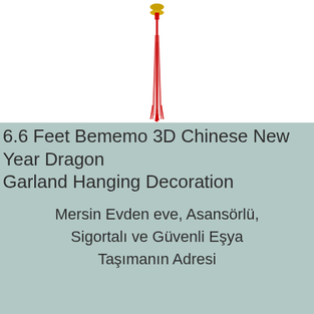[Figure (illustration): A red Chinese dragon garland / tassel decoration hanging vertically against a white background. It has a gold and red top ornament with long red flowing strands hanging down.]
6.6 Feet Bememo 3D Chinese New Year Dragon Garland Hanging Decoration
Mersin Evden eve, Asansörlü, Sigortalı ve Güvenli Eşya Taşımanın Adresi